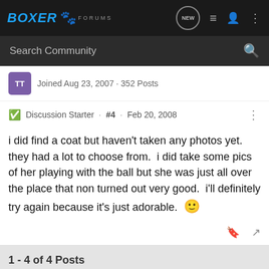BOXER FORUMS
Search Community
Joined Aug 23, 2007 · 352 Posts
Discussion Starter · #4 · Feb 20, 2008
i did find a coat but haven't taken any photos yet.  they had a lot to choose from.  i did take some pics of her playing with the ball but she was just all over the place that non turned out very good.  i'll definitely try again because it's just adorable. 🙂
1 - 4 of 4 Posts
This is an older thread, you may not receive a response, and could be